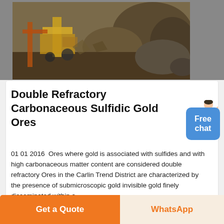[Figure (photo): Mining machinery and rock/ore at an open-pit or quarry site, showing yellow/orange heavy equipment and rock piles.]
Double Refractory Carbonaceous Sulfidic Gold Ores
01 01 2016  Ores where gold is associated with sulfides and with high carbonaceous matter content are considered double refractory Ores in the Carlin Trend District are characterized by the presence of submicroscopic gold invisible gold finely disseminated within a
Haz clic para chatear